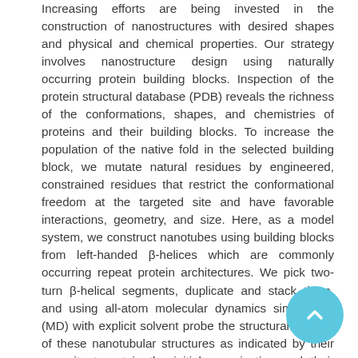Increasing efforts are being invested in the construction of nanostructures with desired shapes and physical and chemical properties. Our strategy involves nanostructure design using naturally occurring protein building blocks. Inspection of the protein structural database (PDB) reveals the richness of the conformations, shapes, and chemistries of proteins and their building blocks. To increase the population of the native fold in the selected building block, we mutate natural residues by engineered, constrained residues that restrict the conformational freedom at the targeted site and have favorable interactions, geometry, and size. Here, as a model system, we construct nanotubes using building blocks from left-handed β-helices which are commonly occurring repeat protein architectures. We pick two-turn β-helical segments, duplicate and stack them, and using all-atom molecular dynamics simulations (MD) with explicit solvent probe the structural stability of these nanotubular structures as indicated by their capacity to retain the initial organization and their conformational dynamics. Comparison of the results for the wild-type and mutated sequences shows that the introduction of the conformationally restricted 1-aminocyclopropanecarboxylic acid (Ac₃c) residue in loop regions greatly enhances the stability of β-helix nanotubes. The Ac₃c geometrical confinement effect is